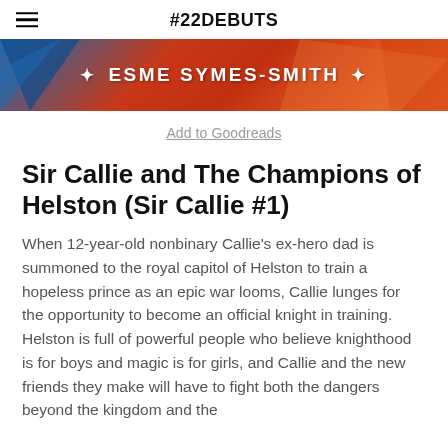#22DEBUTS
[Figure (illustration): Book banner image with colorful illustrated background (blues, oranges, reds) featuring text '+ ESME SYMES-SMITH +']
Add to Goodreads
Sir Callie and The Champions of Helston (Sir Callie #1)
When 12-year-old nonbinary Callie's ex-hero dad is summoned to the royal capitol of Helston to train a hopeless prince as an epic war looms, Callie lunges for the opportunity to become an official knight in training. Helston is full of powerful people who believe knighthood is for boys and magic is for girls, and Callie and the new friends they make will have to fight both the dangers beyond the kingdom and the